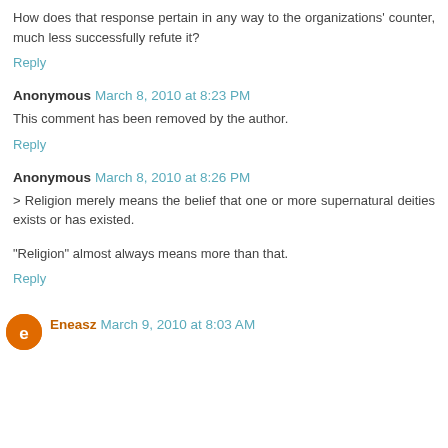How does that response pertain in any way to the organizations' counter, much less successfully refute it?
Reply
Anonymous March 8, 2010 at 8:23 PM
This comment has been removed by the author.
Reply
Anonymous March 8, 2010 at 8:26 PM
> Religion merely means the belief that one or more supernatural deities exists or has existed.
"Religion" almost always means more than that.
Reply
Eneasz March 9, 2010 at 8:03 AM